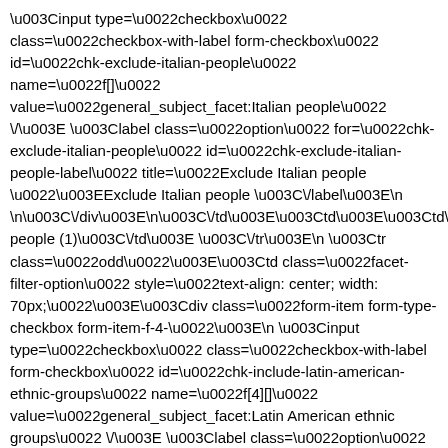\u003Cinput type=\u0022checkbox\u0022 class=\u0022checkbox-with-label form-checkbox\u0022 id=\u0022chk-exclude-italian-people\u0022 name=\u0022f[]\u0022 value=\u0022general_subject_facet:Italian people\u0022 \/\u003E \u003Clabel class=\u0022option\u0022 for=\u0022chk-exclude-italian-people\u0022 id=\u0022chk-exclude-italian-people-label\u0022 title=\u0022Exclude Italian people \u0022\u003EExclude Italian people \u003C\/label\u003E\n \n\u003C\/div\u003E\n\u003C\/td\u003E\u003Ctd\u003E\u003Ctd\u003EItalian people (1)\u003C\/td\u003E \u003C\/tr\u003E\n \u003Ctr class=\u0022odd\u0022\u003E\u003Ctd class=\u0022facet-filter-option\u0022 style=\u0022text-align: center; width: 70px;\u0022\u003E\u003Cdiv class=\u0022form-item form-type-checkbox form-item-f-4-\u0022\u003E\n \u003Cinput type=\u0022checkbox\u0022 class=\u0022checkbox-with-label form-checkbox\u0022 id=\u0022chk-include-latin-american-ethnic-groups\u0022 name=\u0022f[4][]\u0022 value=\u0022general_subject_facet:Latin American ethnic groups\u0022 \/\u003E \u003Clabel class=\u0022option\u0022 for=\u0022chk-include-latin-american-ethnic-groups\u0022 id=\u0022chk-include-latin-american-ethnic-groups-label\u0022 title=\u0022Include Latin American ethnic groups \u0022\u003EInclude Latin American ethnic groups \u003C\/label\u003E\n \n\u003C\/div\u003E\n\u003C\/td\u003E\u003Ctd